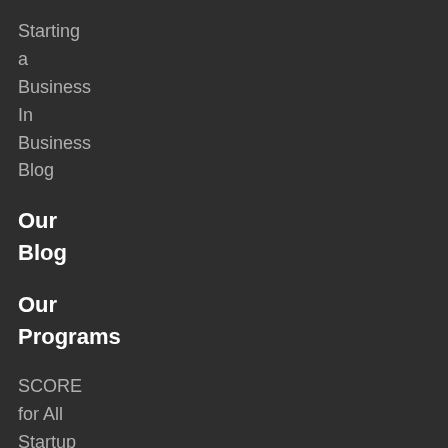Starting
a
Business
In
Business
Blog
Our
Blog
Our
Programs
SCORE
for All
Startup
Roadmap
Small